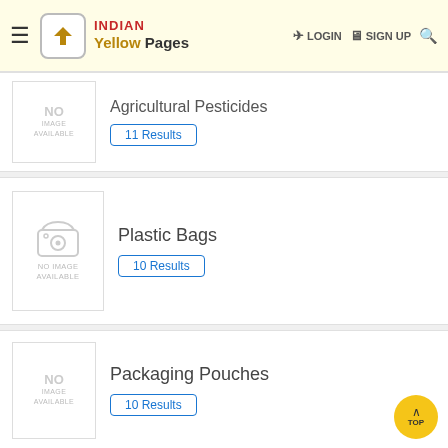Indian Yellow Pages — LOGIN  SIGN UP
[Figure (screenshot): No image available placeholder for Agricultural Pesticides]
Agricultural Pesticides
11 Results
[Figure (screenshot): No image available placeholder with camera icon for Plastic Bags]
Plastic Bags
10 Results
[Figure (screenshot): No image available placeholder for Packaging Pouches]
Packaging Pouches
10 Results